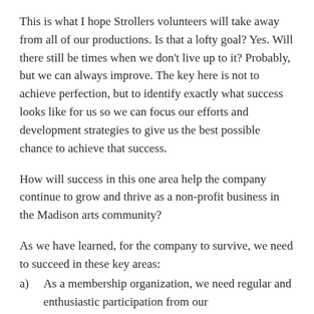This is what I hope Strollers volunteers will take away from all of our productions. Is that a lofty goal? Yes. Will there still be times when we don't live up to it? Probably, but we can always improve. The key here is not to achieve perfection, but to identify exactly what success looks like for us so we can focus our efforts and development strategies to give us the best possible chance to achieve that success.
How will success in this one area help the company continue to grow and thrive as a non-profit business in the Madison arts community?
As we have learned, for the company to survive, we need to succeed in these key areas:
a)    As a membership organization, we need regular and enthusiastic participation from our membership/volunteers.
b)    The number of members needs to be maintained, and hopefully grow over the years.